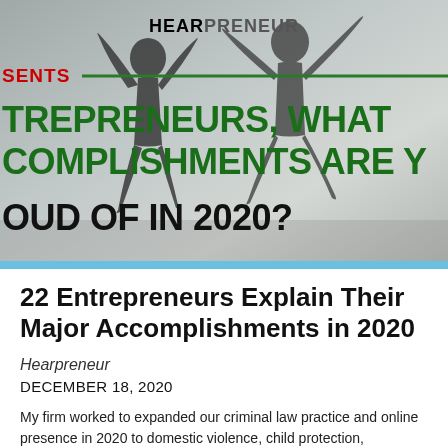[Figure (photo): Header image for Hearpreneur article showing silhouettes of two people jumping joyfully against a grey sky background, with text overlay reading HEARPRENEUR, PRESENTS, ENTREPRENEURS WHAT ACCOMPLISHMENTS ARE YOU PROUD OF IN 2020?]
22 Entrepreneurs Explain Their Major Accomplishments in 2020
Hearpreneur
DECEMBER 18, 2020
My firm worked to expanded our criminal law practice and online presence in 2020 to domestic violence, child protection,